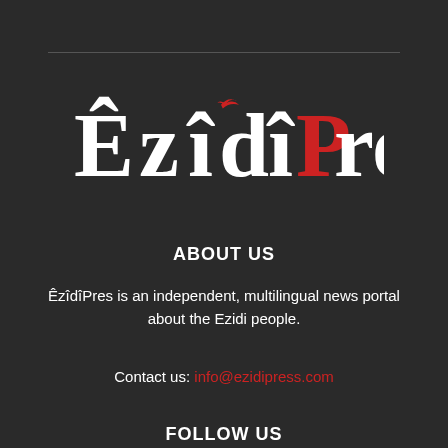[Figure (logo): ÊzîdîPress logo in white and red on dark background, with a small red bird above the letter i]
ABOUT US
ÊzîdîPres is an independent, multilingual news portal about the Ezidi people.
Contact us: info@ezidipress.com
FOLLOW US